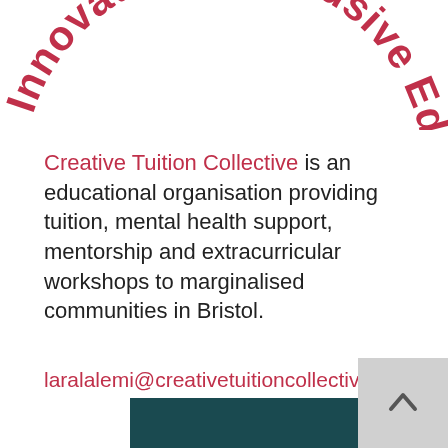[Figure (logo): Curved arc text reading 'Innovative & Inclusive Education' in bold pink/crimson lettering, forming the top portion of a circular logo badge]
Creative Tuition Collective is an educational organisation providing tuition, mental health support, mentorship and extracurricular workshops to marginalised communities in Bristol.
laralalemi@creativetuitioncollective.com